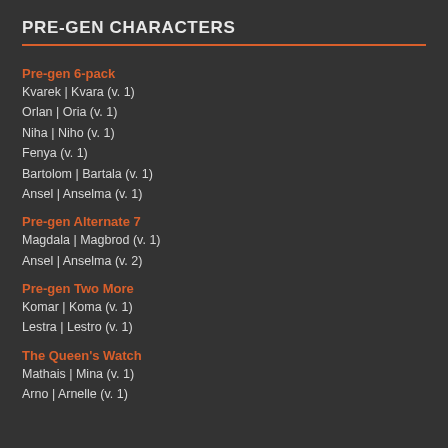PRE-GEN CHARACTERS
Pre-gen 6-pack
Kvarek | Kvara (v. 1)
Orlan | Oria (v. 1)
Niha | Niho (v. 1)
Fenya (v. 1)
Bartolom | Bartala (v. 1)
Ansel | Anselma (v. 1)
Pre-gen Alternate 7
Magdala | Magbrod (v. 1)
Ansel | Anselma (v. 2)
Pre-gen Two More
Komar | Koma (v. 1)
Lestra | Lestro (v. 1)
The Queen's Watch
Mathais | Mina (v. 1)
Arno | Arnelle (v. 1)